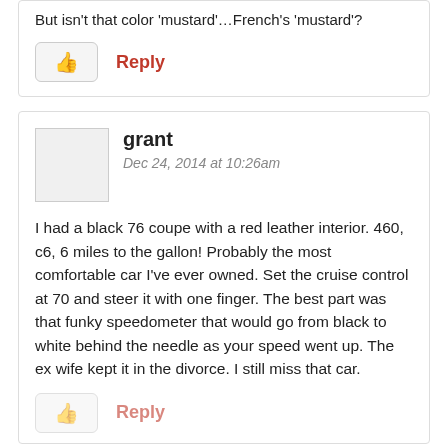But isn't that color 'mustard'…French's 'mustard'?
👍 Reply
grant
Dec 24, 2014 at 10:26am
I had a black 76 coupe with a red leather interior. 460, c6, 6 miles to the gallon! Probably the most comfortable car I've ever owned. Set the cruise control at 70 and steer it with one finger. The best part was that funky speedometer that would go from black to white behind the needle as your speed went up. The ex wife kept it in the divorce. I still miss that car.